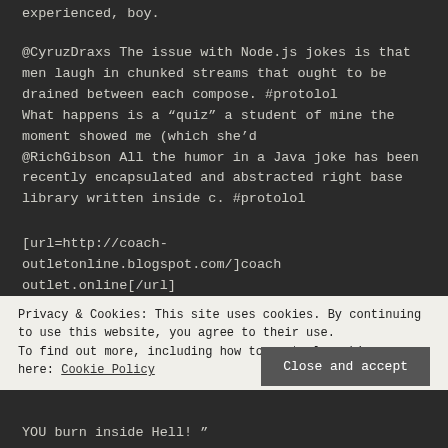experienced, boy.
@CyruzDraxs The issue with Node.js jokes is that men laugh in chunked streams that ought to be drained between each compose. #protolol
What happens is a “quiz” a student of mine the moment showed me (which she’d
@RichGibson All the humor in a Java joke has been recently encapsulated and abstracted right base library written inside c. #protolol
[url=http://coach-outletonline.blogspot.com/]coach outlet online[/url]
Privacy & Cookies: This site uses cookies. By continuing to use this website, you agree to their use.
To find out more, including how to control cookies, see here: Cookie Policy
Close and accept
YOU burn inside Hell! ”